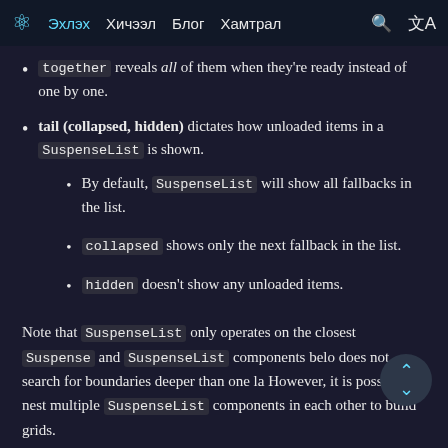Эхлэх  Хичээл  Блог  Хамтрал
together reveals all of them when they're ready instead of one by one.
tail (collapsed, hidden) dictates how unloaded items in a SuspenseList is shown.
By default, SuspenseList will show all fallbacks in the list.
collapsed shows only the next fallback in the list.
hidden doesn't show any unloaded items.
Note that SuspenseList only operates on the closest Suspense and SuspenseList components belo does not search for boundaries deeper than one la However, it is possible to nest multiple SuspenseList components in each other to build grids.